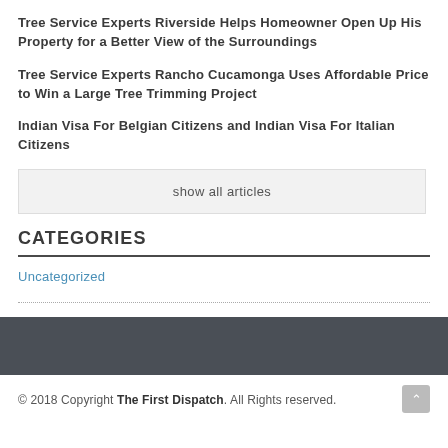Tree Service Experts Riverside Helps Homeowner Open Up His Property for a Better View of the Surroundings
Tree Service Experts Rancho Cucamonga Uses Affordable Price to Win a Large Tree Trimming Project
Indian Visa For Belgian Citizens and Indian Visa For Italian Citizens
show all articles
CATEGORIES
Uncategorized
© 2018 Copyright The First Dispatch. All Rights reserved.